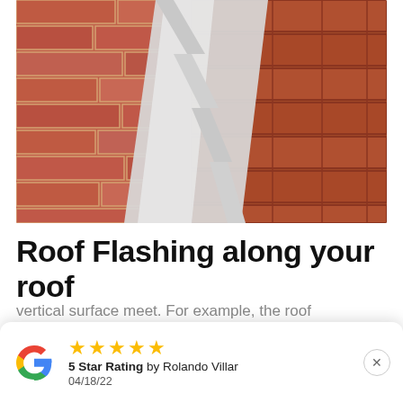[Figure (photo): Roof flashing installation showing brick wall meeting clay roof tiles with silver metal flashing at the junction]
Roof Flashing along your roof
How do you fix roof flashing from Sugar Land Premier Roofing. Before we answer that
vertical surface meet. For example, the roof
★★★★★ 5 Star Rating by Rolando Villar 04/18/22